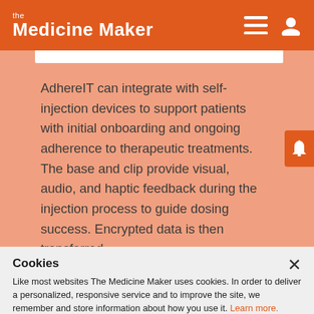the Medicine Maker
AdhereIT can integrate with self-injection devices to support patients with initial onboarding and ongoing adherence to therapeutic treatments. The base and clip provide visual, audio, and haptic feedback during the injection process to guide dosing success. Encrypted data is then transferred
Cookies
Like most websites The Medicine Maker uses cookies. In order to deliver a personalized, responsive service and to improve the site, we remember and store information about how you use it. Learn more.